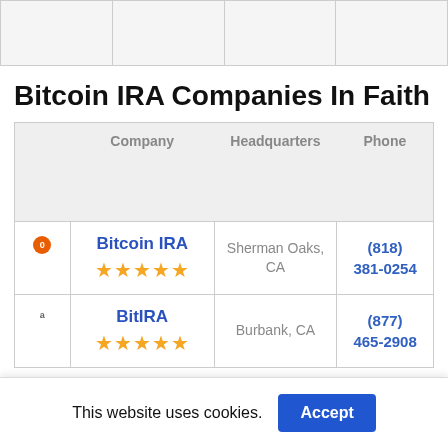|  | Company | Headquarters | Phone |
| --- | --- | --- | --- |
| 1 | Bitcoin IRA ★★★★★ | Sherman Oaks, CA | (818) 381-0254 |
| 2 | BitIRA ★★★★★ | Burbank, CA | (877) 465-2908 |
Bitcoin IRA Companies In Faith
This website uses cookies.